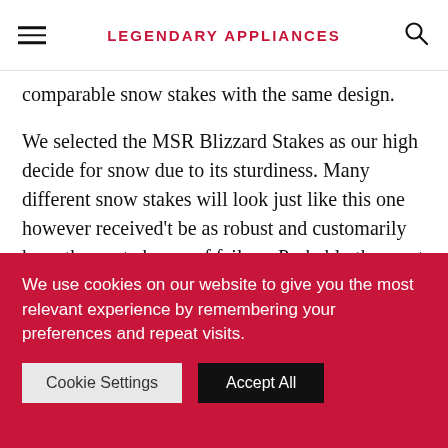LEGENDARY APPLIANCES
comparable snow stakes with the same design.
We selected the MSR Blizzard Stakes as our high decide for snow due to its sturdiness. Many different snow stakes will look just like this one however received't be as robust and customarily have the next chance of failure. Probably the most comparable by way of sturdiness and performance can be the REI Snow Stakes. Regardless of the worth,
We use cookies on our website to give you the most relevant experience by remembering your preferences and repeat visits.
Cookie Settings   Accept All